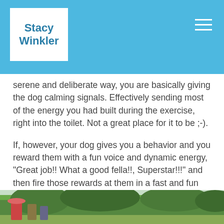Stacy Winkler
serene and deliberate way, you are basically giving the dog calming signals. Effectively sending most of the energy you had built during the exercise, right into the toilet. Not a great place for it to be ;-).
If, however, your dog gives you a behavior and you reward them with a fun voice and dynamic energy, “Great job!! What a good fella!!, Superstar!!!” and then fire those rewards at them in a fast and fun way, you will be creating a feeling of excitement which your dog will respond to, mirroring your enthusiasm.
[Figure (photo): Bottom strip showing outdoor scene with people and green trees/foliage in background]